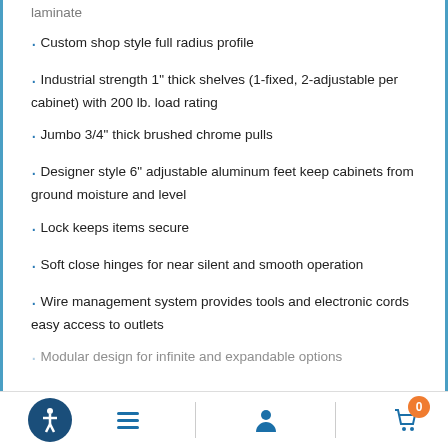laminate
Custom shop style full radius profile
Industrial strength 1" thick shelves (1-fixed, 2-adjustable per cabinet) with 200 lb. load rating
Jumbo 3/4" thick brushed chrome pulls
Designer style 6" adjustable aluminum feet keep cabinets from ground moisture and level
Lock keeps items secure
Soft close hinges for near silent and smooth operation
Wire management system provides tools and electronic cords easy access to outlets
Modular design for infinite and expandable options